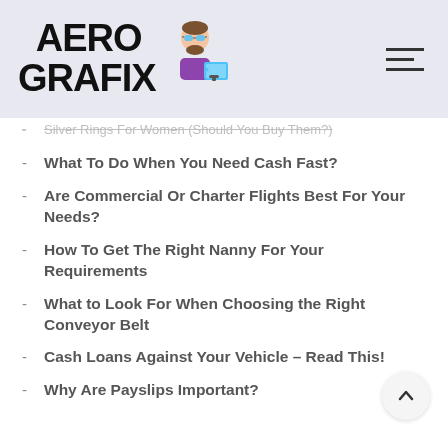[Figure (logo): AeroGrafix logo with bold text AEROGRAFIX and an illustrated character wearing sunglasses sitting at a computer]
Silver Rings For Women (Should You Buy Them?)
What To Do When You Need Cash Fast?
Are Commercial Or Charter Flights Best For Your Needs?
How To Get The Right Nanny For Your Requirements
What to Look For When Choosing the Right Conveyor Belt
Cash Loans Against Your Vehicle – Read This!
Why Are Payslips Important?